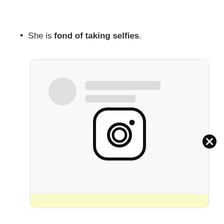She is fond of taking selfies.
[Figure (screenshot): An Instagram-style card UI mockup with a placeholder avatar and lines at top, an Instagram logo icon centered, a yellow highlight bar at the bottom, and a close (X) button on the right side.]